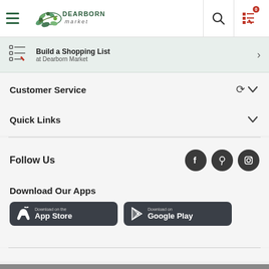Dearborn Market - Navigation Header
Build a Shopping List at Dearborn Market
Customer Service
Quick Links
Follow Us
Download Our Apps
Download on the App Store
Download on Google Play